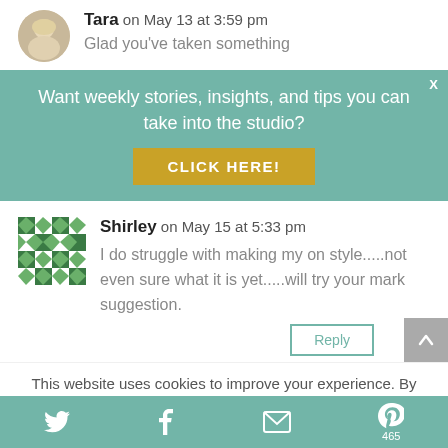Tara on May 13 at 3:59 pm
Glad you've taken something
Want weekly stories, insights, and tips you can take into the studio?
CLICK HERE!
Shirley on May 15 at 5:33 pm
I do struggle with making my on style.....not even sure what it is yet.....will try your mark suggestion.
This website uses cookies to improve your experience. By continuing to use this site, you agree to our use of
465